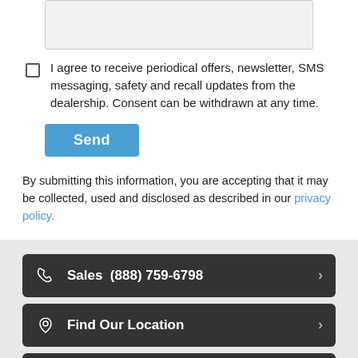[Figure (other): Text input area / form field (gray background rectangle)]
I agree to receive periodical offers, newsletter, SMS messaging, safety and recall updates from the dealership. Consent can be withdrawn at any time.
Send
By submitting this information, you are accepting that it may be collected, used and disclosed as described in our privacy policy.
Sales  (888) 759-6798
Find Our Location
Contact Us
Hours Of Operation